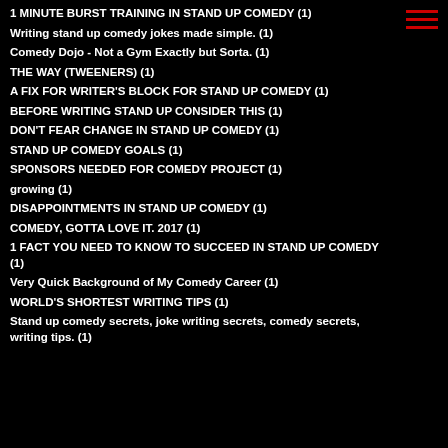1 MINUTE BURST TRAINING IN STAND UP COMEDY (1)
Writing stand up comedy jokes made simple. (1)
Comedy Dojo - Not a Gym Exactly but Sorta. (1)
THE WAY (TWEENERS) (1)
A FIX FOR WRITER'S BLOCK FOR STAND UP COMEDY (1)
BEFORE WRITING STAND UP CONSIDER THIS (1)
DON'T FEAR CHANGE IN STAND UP COMEDY (1)
STAND UP COMEDY GOALS (1)
SPONSORS NEEDED FOR COMEDY PROJECT (1)
growing (1)
DISAPPOINTMENTS IN STAND UP COMEDY (1)
COMEDY, GOTTA LOVE IT. 2017 (1)
1 FACT YOU NEED TO KNOW TO SUCCEED IN STAND UP COMEDY (1)
Very Quick Background of My Comedy Career (1)
WORLD'S SHORTEST WRITING TIPS (1)
Stand up comedy secrets, joke writing secrets, comedy secrets, writing tips. (1)